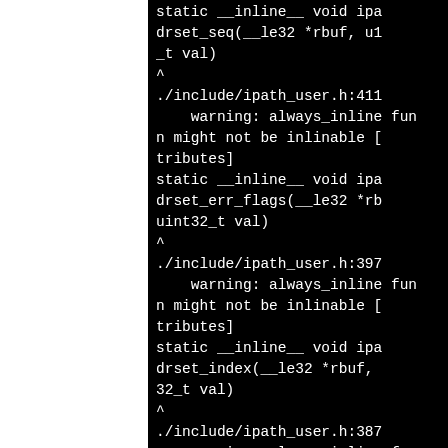static __inline__ void ipadrset_seq(__le32 *rbuf, u1_t val)
^
./include/ipath_user.h:411
    warning: always_inline fun
n might not be inlinable [
tributes]
static __inline__ void ipadrset_err_flags(__le32 *rb
uint32_t val)
^
./include/ipath_user.h:397
    warning: always_inline fun
n might not be inlinable [
tributes]
static __inline__ void ipadrset_index(__le32 *rbuf,
32_t val)
^
./include/ipath_user.h:387
    warning: always_inline fun
n might not be inlinable [
tributes]